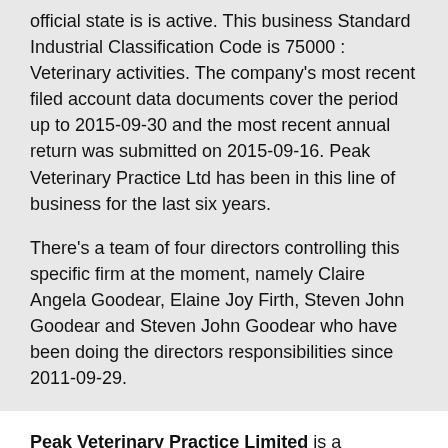official state is is active. This business Standard Industrial Classification Code is 75000 : Veterinary activities. The company's most recent filed account data documents cover the period up to 2015-09-30 and the most recent annual return was submitted on 2015-09-16. Peak Veterinary Practice Ltd has been in this line of business for the last six years.
There's a team of four directors controlling this specific firm at the moment, namely Claire Angela Goodear, Elaine Joy Firth, Steven John Goodear and Steven John Goodear who have been doing the directors responsibilities since 2011-09-29.
Peak Veterinary Practice Limited is a domestic stock company, located in Sheffield, The United Kingdom. It is a limited by shares, British proprietary company. Since 1989, the company is headquartered in n/a. Peak Veterinary Practice Limited was registered on n/a. We brings you a complete range of reports and documents featuring legal